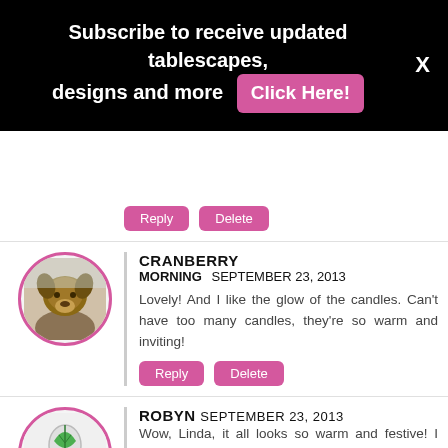Subscribe to receive updated tablescapes, designs and more  [Click Here!]  X
[Figure (other): Partial comment block showing Reply and Delete buttons at top]
CRANBERRY
MORNING  SEPTEMBER 23, 2013
Lovely! And I like the glow of the candles. Can't have too many candles, they're so warm and inviting!
[Figure (photo): Circular avatar with pink border showing a German Shepherd dog photo]
ROBYN  SEPTEMBER 23, 2013
Wow, Linda, it all looks so warm and festive! I love the colours of Autumn. You have such a special talent for making a house a home.
Thanks for passing on Anne`s link - such a worthy cause.
[Figure (photo): Circular avatar with pink border showing a green leaf on a spoon illustration]